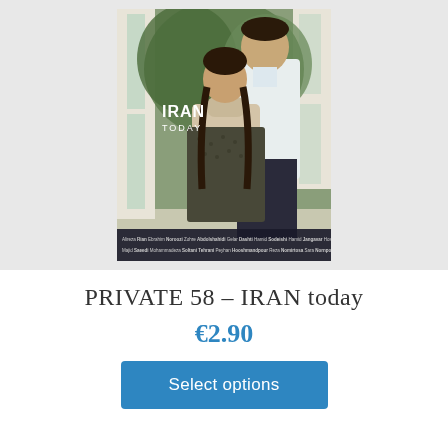[Figure (photo): Book cover of PRIVATE 58 – IRAN today, showing a young woman with braids and a man standing behind her by a window with trees visible outside. Text 'IRAN TODAY' appears in white on the left side of the cover. A row of contributor names appears at the bottom of the cover.]
PRIVATE 58 – IRAN today
€2.90
Select options